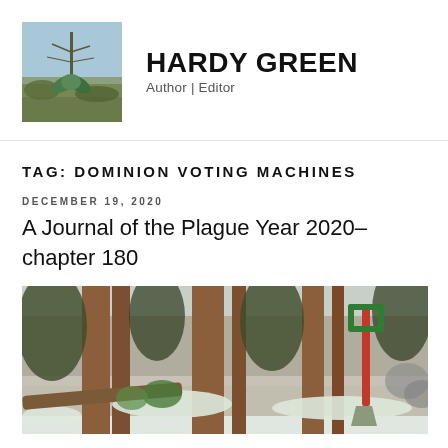[Figure (photo): Outdoor photo showing a tall plant (agave or similar) against a blue sky with scrubby landscape below]
HARDY GREEN
Author | Editor
TAG: DOMINION VOTING MACHINES
DECEMBER 19, 2020
A Journal of the Plague Year 2020–chapter 180
[Figure (photo): Outdoor winter photo showing pine trees and a shovel leaning against a tree with snow on the ground]